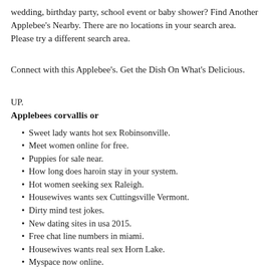wedding, birthday party, school event or baby shower? Find Another Applebee's Nearby. There are no locations in your search area. Please try a different search area.
Connect with this Applebee's. Get the Dish On What's Delicious.
UP.
Applebees corvallis or
Sweet lady wants hot sex Robinsonville.
Meet women online for free.
Puppies for sale near.
How long does haroin stay in your system.
Hot women seeking sex Raleigh.
Housewives wants sex Cuttingsville Vermont.
Dirty mind test jokes.
New dating sites in usa 2015.
Free chat line numbers in miami.
Housewives wants real sex Horn Lake.
Myspace now online.
I can i high quality...